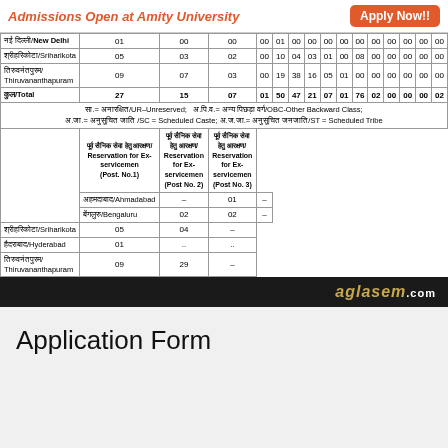Admissions Open at Amity University  Apply Now!!
| Station | Col1 | Col2 | Col3 | Col4 | Col5 | Col6 | Col7 | Col8 | Col9 | Col10 | Col11 | Col12 | Col13 | Col14 | Col15 |
| --- | --- | --- | --- | --- | --- | --- | --- | --- | --- | --- | --- | --- | --- | --- | --- |
| New Delhi | 01 | 00 | 00 | 00 | 01 | 00 | 00 | 00 | 00 | 00 | 00 | 00 | 00 | 00 | 00 |
| Sriharikota | 05 | 03 | 02 | 00 | 10 | 04 | 03 | 01 | 00 | 08 | 00 | 00 | 00 | 00 | 00 |
| Thiruvananthapuram | 09 | 07 | 03 | 00 | 19 | 38 | 16 | 05 | 01 | 00 | 00 | 00 | 00 | 00 | 00 |
| Total | 27 | 15 | 07 | 01 | 50 | 47 | 21 | 07 | 01 | 76 | 02 | 00 | 00 | 00 | 02 |
सा.= अनारक्षित/UR–Unreserved; अ.पि.व.= अन्य पिछड़ा वर्ग/OBC-Other Backward Class; अ.जा.= अनुसूचित जाति /SC = Scheduled Caste; अ.ज.जा.= अनुसूचित जनजाति/ST = Scheduled Tribe
| Station | Reservation for Ex-servicemen (Post. No.1) | Reservation for Ex-servicemen (Post No. 2) | Reservation for Ex-servicemen (Post No. 3) |
| --- | --- | --- | --- |
| Ahmadabad | – | 01 | – |
| Bengaluru | 02 | 02 | – |
| Sriharikota | 05 | 04 | – |
| Hyderabad | 01 | .. | .. |
| Thiruvananthapuram | 09 | 29 | – |
Application Form